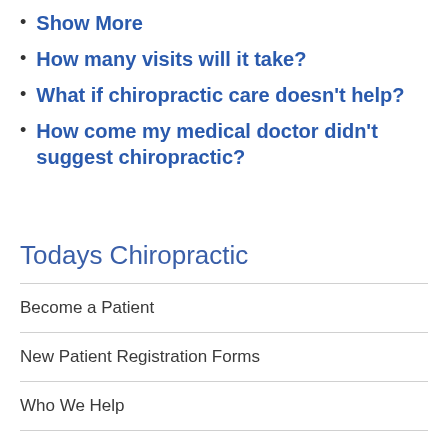Show More
How many visits will it take?
What if chiropractic care doesn't help?
How come my medical doctor didn't suggest chiropractic?
Todays Chiropractic
Become a Patient
New Patient Registration Forms
Who We Help
Adjustments
MLS Laser Therapy